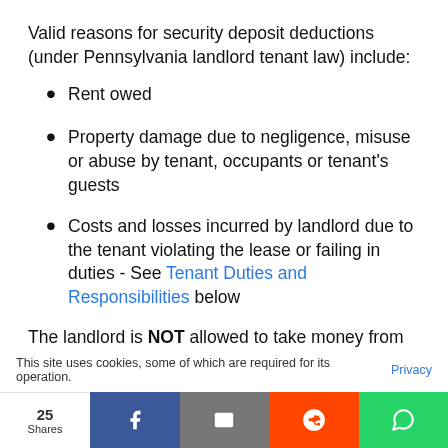Valid reasons for security deposit deductions (under Pennsylvania landlord tenant law) include:
Rent owed
Property damage due to negligence, misuse or abuse by tenant, occupants or tenant's guests
Costs and losses incurred by landlord due to the tenant violating the lease or failing in duties - See Tenant Duties and Responsibilities below
The landlord is NOT allowed to take money from the security deposit due to damage from *normal wear and tear. *Normal wear and tear is the natural deterioration of the property (and its contents) from normal everyday use
This site uses cookies, some of which are required for its operation. Privacy
25 Shares